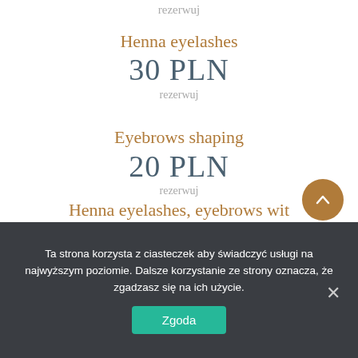rezerwuj
Henna eyelashes
30 PLN
rezerwuj
Eyebrows shaping
20 PLN
rezerwuj
Henna eyelashes, eyebrows wit
Ta strona korzysta z ciasteczek aby świadczyć usługi na najwyższym poziomie. Dalsze korzystanie ze strony oznacza, że zgadzasz się na ich użycie.
Zgoda